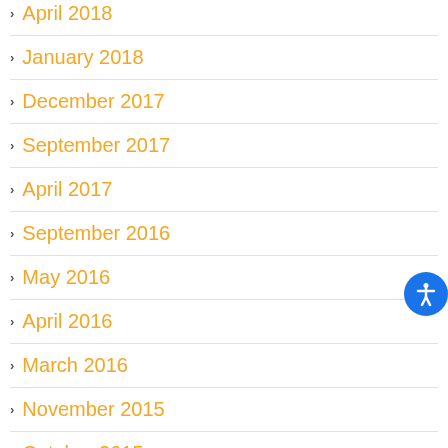April 2018
January 2018
December 2017
September 2017
April 2017
September 2016
May 2016
April 2016
March 2016
November 2015
October 2015
September 2015